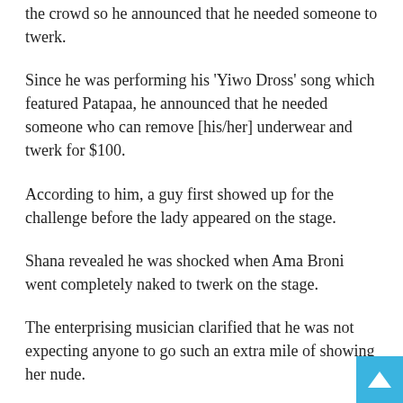the crowd so he announced that he needed someone to twerk.
Since he was performing his ‘Yiwo Dross’ song which featured Patapaa, he announced that he needed someone who can remove [his/her] underwear and twerk for $100.
According to him, a guy first showed up for the challenge before the lady appeared on the stage.
Shana revealed he was shocked when Ama Broni went completely naked to twerk on the stage.
The enterprising musician clarified that he was not expecting anyone to go such an extra mile of showing her nude.
Shana, who was stunned at that moment, said he asked the DJ at the event to “pull up” and made sure Ama was safe on the stage.